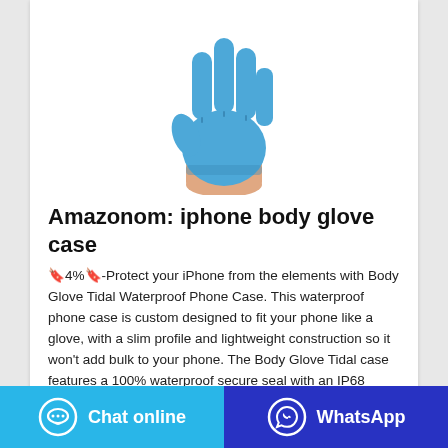[Figure (photo): A hand wearing a blue nitrile/latex glove raised upward against a white background, fingers spread.]
Amazonom: iphone body glove case
🔖4%🔖-Protect your iPhone from the elements with Body Glove Tidal Waterproof Phone Case. This waterproof phone case is custom designed to fit your phone like a glove, with a slim profile and lightweight construction so it won't add bulk to your phone. The Body Glove Tidal case features a 100% waterproof secure seal with an IP68 certification.